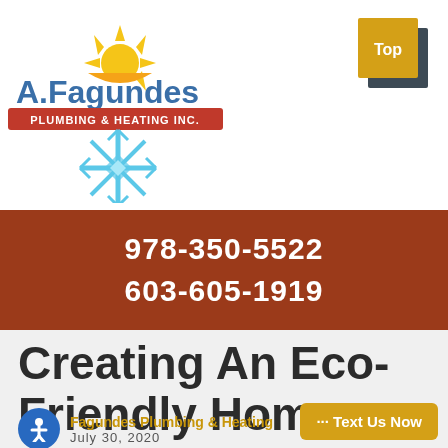[Figure (logo): A.Fagundes Plumbing & Heating Inc. logo with sun and snowflake icons]
[Figure (other): Top navigation button — gold and dark gray overlapping squares with 'Top' text]
978-350-5522
603-605-1919
Creating An Eco-Friendly Home
Fagundes Plumbing & Heating
July 30, 2020
[Figure (other): Blue accessibility icon circle with white person figure]
··· Text Us Now